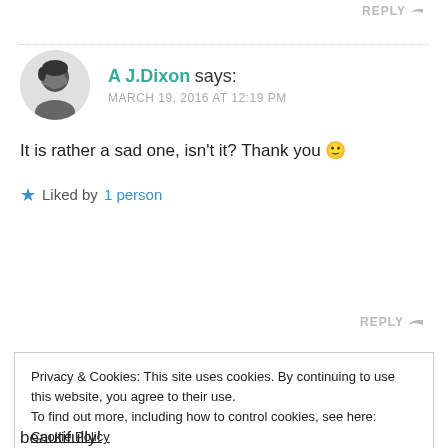REPLY
A J.Dixon says:
MARCH 19, 2016 AT 12:19 PM
It is rather a sad one, isn't it? Thank you 🙂
★ Liked by 1 person
REPLY
Privacy & Cookies: This site uses cookies. By continuing to use this website, you agree to their use.
To find out more, including how to control cookies, see here: Cookie Policy
Close and accept
beautifully!